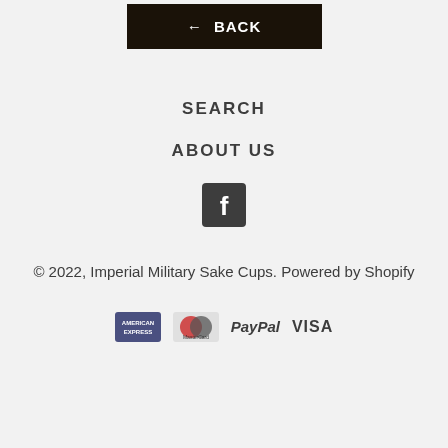[Figure (other): Back navigation button with left arrow and text BACK on dark background]
SEARCH
ABOUT US
[Figure (other): Facebook social media icon - white F on dark square background]
© 2022, Imperial Military Sake Cups. Powered by Shopify
[Figure (other): Payment method icons: American Express, Mastercard, PayPal, VISA]